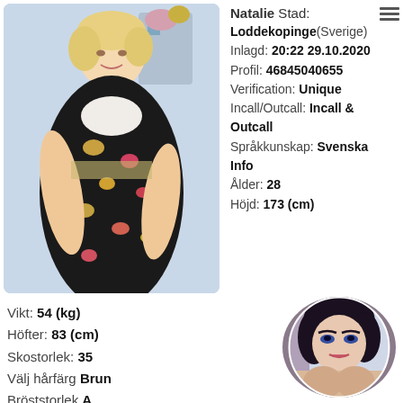[Figure (photo): Woman with short blonde hair wearing a floral dress and white bra top, posed indoors]
Natalie Stad:
Loddekopinge(Sverige)
Inlagd: 20:22 29.10.2020
Profil: 46845040655
Verification: Unique
Incall/Outcall: Incall & Outcall
Språkkunskap: Svenska
Info
Ålder: 28
Höjd: 173 (cm)
Vikt: 54 (kg)
Höfter: 83 (cm)
Skostorlek: 35
Välj hårfärg Brun
Bröststorlek A
Silikon bröst: -
[Figure (photo): Dark-haired woman, circular thumbnail photo]